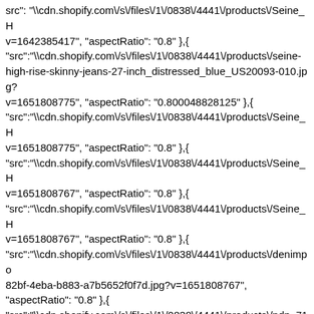src": "\\cdn.shopify.com\/s\/files\/1\/0838\/4441\/products\/Seine_H v=1642385417", "aspectRatio": "0.8" },{ "src":"\\cdn.shopify.com\/s\/files\/1\/0838\/4441\/products\/seine-high-rise-skinny-jeans-27-inch_distressed_blue_US20093-010.jpg?v=1651808775", "aspectRatio": "0.800048828125" },{ "src":"\\cdn.shopify.com\/s\/files\/1\/0838\/4441\/products\/Seine_H v=1651808775", "aspectRatio": "0.8" },{ "src":"\\cdn.shopify.com\/s\/files\/1\/0838\/4441\/products\/Seine_H v=1651808767", "aspectRatio": "0.8" },{ "src":"\\cdn.shopify.com\/s\/files\/1\/0838\/4441\/products\/Seine_H v=1651808767", "aspectRatio": "0.8" },{ "src":"\\cdn.shopify.com\/s\/files\/1\/0838\/4441\/products\/denimpo 82bf-4eba-b883-a7b5652f0f7d.jpg?v=1651808767", "aspectRatio": "0.8" },{ "src":"\\cdn.shopify.com\/s\/files\/1\/0838\/4441\/products\/pdp_71 f0cd-4f6e-a1e8-53509599d90c.jpg?v=1651808767", "aspectRatio": "0.800180018001800 2" }], "url": "/products/seine-high-rise-skinny-jeans-27-inch-distressed-blue", "tags": ["65DENIM","@rpdenim","blue","boub-s3","collection-denim","collection:35-denim","collection:35-denim-1","collection:5-star-staples","collection:5-years-of-us","collection:55-denim","collection:65-denim","collection:65-denim-1","collection:70-denim","collection:all","collection:apex-october-2018","collection:back-to-basics","collection:best-friend-denim","collection:best-sellers-kit","collection:best-sellers-seine-jeans","collection:blue-color-story","collection:blue